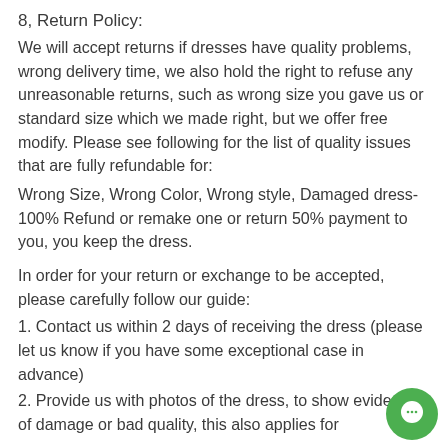8, Return Policy:
We will accept returns if dresses have quality problems, wrong delivery time, we also hold the right to refuse any unreasonable returns, such as wrong size you gave us or standard size which we made right, but we offer free modify. Please see following for the list of quality issues that are fully refundable for:
Wrong Size, Wrong Color, Wrong style, Damaged dress- 100% Refund or remake one or return 50% payment to you, you keep the dress.
In order for your return or exchange to be accepted, please carefully follow our guide:
1. Contact us within 2 days of receiving the dress (please let us know if you have some exceptional case in advance)
2. Provide us with photos of the dress, to show evidence of damage or bad quality, this also applies for